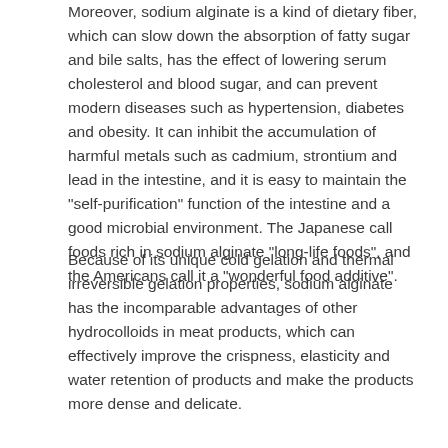Moreover, sodium alginate is a kind of dietary fiber, which can slow down the absorption of fatty sugar and bile salts, has the effect of lowering serum cholesterol and blood sugar, and can prevent modern diseases such as hypertension, diabetes and obesity. It can inhibit the accumulation of harmful metals such as cadmium, strontium and lead in the intestine, and it is easy to maintain the "self-purification" function of the intestine and a good microbial environment. The Japanese call foods rich in sodium alginate "long-life foods", and the Americans call it a "wonderful food additive".
Because of its unique cold gelation and thermal irreversible gelation properties, sodium alginate has the incomparable advantages of other hydrocolloids in meat products, which can effectively improve the crispness, elasticity and water retention of products and make the products more dense and delicate.